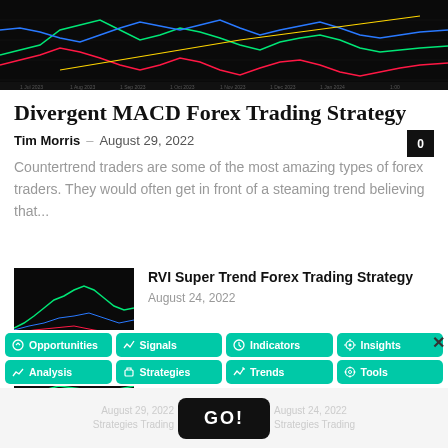[Figure (screenshot): Dark trading chart with colored indicator lines (green, red, blue, yellow) on a black background with date axis visible at bottom]
Divergent MACD Forex Trading Strategy
Tim Morris – August 29, 2022
Countertrend traders are some of the most amazing types of forex traders. They would often get in front of a steaming trend believing that...
[Figure (screenshot): Dark trading chart thumbnail showing green candlestick pattern with red/blue indicator lines]
RVI Super Trend Forex Trading Strategy
August 24, 2022
[Figure (screenshot): Dark trading chart thumbnail showing green and red line patterns]
Simpler Trend Forex Trading Strategy
Opportunities Signals Indicators Insights Analysis Strategies Trends Tools
GO!